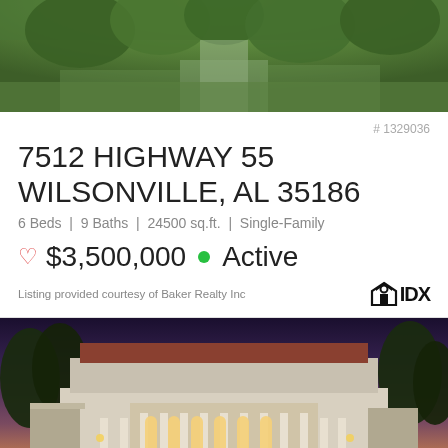[Figure (photo): Aerial view of a large estate home surrounded by green trees and landscaping]
# 1329036
7512 HIGHWAY 55
WILSONVILLE, AL 35186
6 Beds | 9 Baths | 24500 sq.ft. | Single-Family
$3,500,000 • Active
Listing provided courtesy of Baker Realty Inc
[Figure (photo): Evening exterior photo of a large white Mediterranean-style mansion illuminated with warm lights, surrounded by trees at dusk]